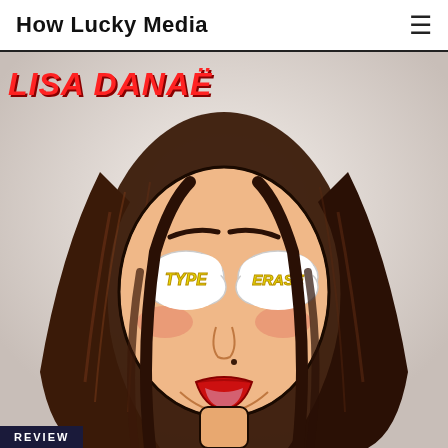How Lucky Media
[Figure (illustration): Comic-art style illustration of a woman with long dark hair, red lipstick, and an open mouth. Her eyes are replaced by two white cloud/thought-bubble shapes containing the yellow bold italic text 'TYPE' and 'ERASE'. The overall style is pop-art/comic book with dark outlines and vivid colors on a light gray background. The artist name 'LISA DANAË' appears in red italic bold text in the upper left corner. A dark navy 'REVIEW' label badge appears at the bottom left.]